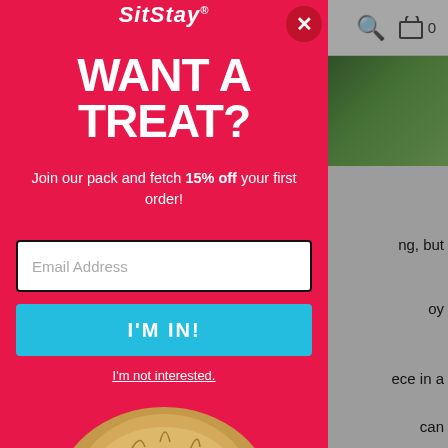[Figure (screenshot): Website navigation bar with hamburger menu icon, search icon, and cart icon showing 0 items]
[Figure (photo): Partial view of green grass/outdoor photo in top right corner behind modal]
ng, but
oy
ece in a
can
ump is
e bar
nect a
s to
[Figure (screenshot): SitStay email signup modal popup with pink/red background, headline 'WANT A TREAT?', subtext about 15% off first order, email input field, 'I'M IN!' button in cyan, and a cute dog photo at the bottom]